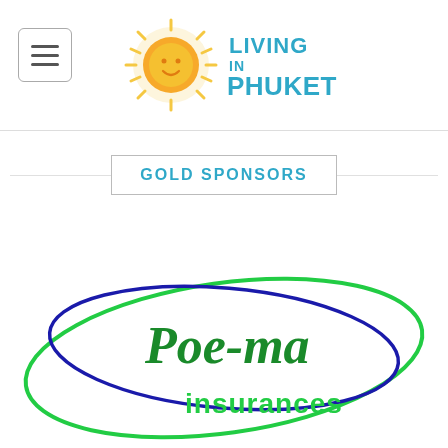LIVING IN PHUKET
GOLD SPONSORS
[Figure (logo): Poe-ma insurances logo with blue and green oval swoosh lines]